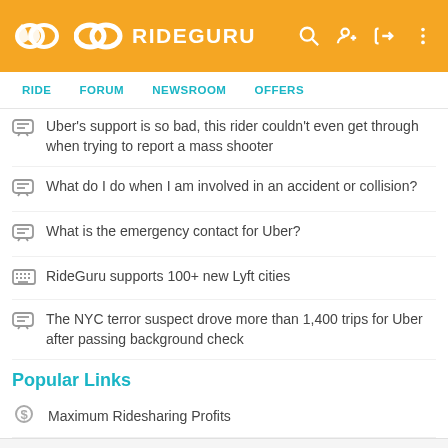RIDEGURU
Uber's support is so bad, this rider couldn't even get through when trying to report a mass shooter
What do I do when I am involved in an accident or collision?
What is the emergency contact for Uber?
RideGuru supports 100+ new Lyft cities
The NYC terror suspect drove more than 1,400 trips for Uber after passing background check
Popular Links
Maximum Ridesharing Profits
Fare Estimator
Rideshare 101